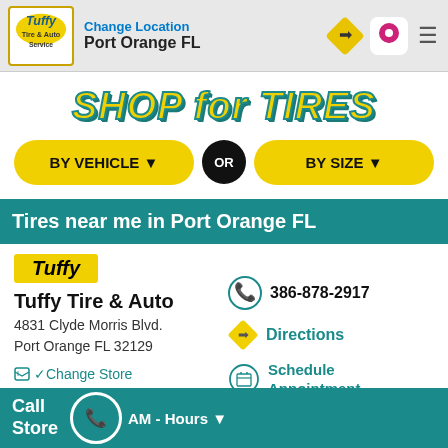Change Location / Port Orange FL
SHOP for TIRES
BY VEHICLE
BY SIZE
Tires near me in Port Orange FL
[Figure (logo): Tuffy logo badge with yellow background]
Tuffy Tire & Auto
4831 Clyde Morris Blvd.
Port Orange FL 32129
386-878-2917
Change Store
Directions
Schedule Appointment
Call Store  AM - Hours